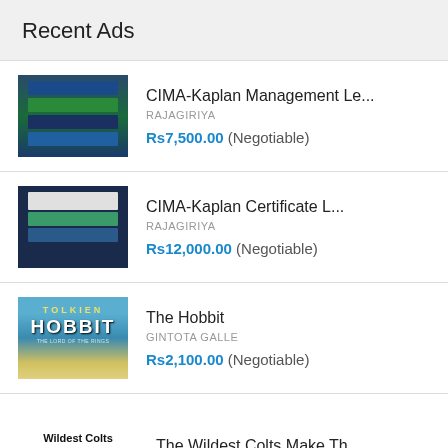Recent Ads
CIMA-Kaplan Management Le...
RAJAGIRIYA
Rs7,500.00 (Negotiable)
CIMA-Kaplan Certificate L...
RAJAGIRIYA
Rs12,000.00 (Negotiable)
The Hobbit
GINTOTA GALLE
Rs2,100.00 (Negotiable)
The Wildest Colts Make Th...
GINTOTA GALLE